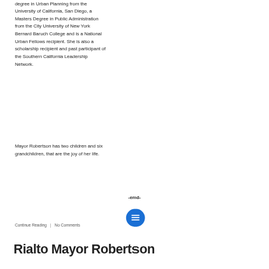degree in Urban Planning from the University of California, San Diego, a Masters Degree in Public Administration from the City University of New York Bernard Baruch College and is a National Urban Fellows recipient. She is also a scholarship recipient and past participant of the Southern California Leadership Network.
Mayor Robertson has two children and six grandchildren, that are the joy of her life.
-end-
[Figure (other): Gray overlay button labeled 'Click For Articles' with an arrow pointing to a blue circle icon containing a document/menu symbol]
Continue Reading   |   No Comments
Rialto Mayor Robertson